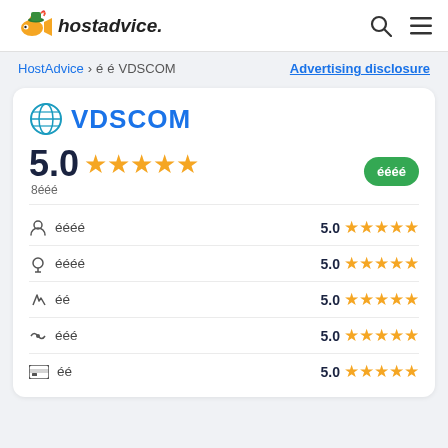[Figure (logo): HostAdvice logo with cartoon fish mascot and italic bold text 'hostadvice.']
HostAdvice > 囧囧 VDSCOM
Advertising disclosure
[Figure (logo): VDSCOM logo with blue globe icon and bold blue text VDSCOM]
5.0 ★★★★★ 8囧囧囧
囧囧囧囧
囧囧囧囧 5.0 ★★★★★
囧囧囧囧 5.0 ★★★★★
囧囧 5.0 ★★★★★
囧囧囧 5.0 ★★★★★
囧囧 5.0 ★★★★★